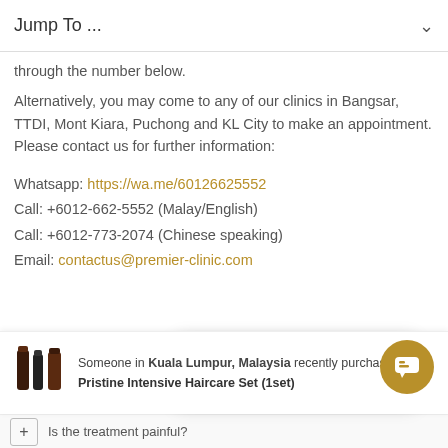Jump To ...
through the number below.
Alternatively, you may come to any of our clinics in Bangsar, TTDI, Mont Kiara, Puchong and KL City to make an appointment. Please contact us for further information:
Whatsapp: https://wa.me/60126625552
Call: +6012-662-5552 (Malay/English)
Call: +6012-773-2074 (Chinese speaking)
Email: contactus@premier-clinic.com
FREQUENTLY ...
[Figure (screenshot): Chat popup widget showing 'Leave a Message' and 'We'll contact you ASAP' text, with a gold chat bubble icon]
[Figure (infographic): Notification bar showing haircare product bottles and text: Someone in Kuala Lumpur, Malaysia recently purchased Pristine Intensive Haircare Set (1set)]
Is the treatment painful?